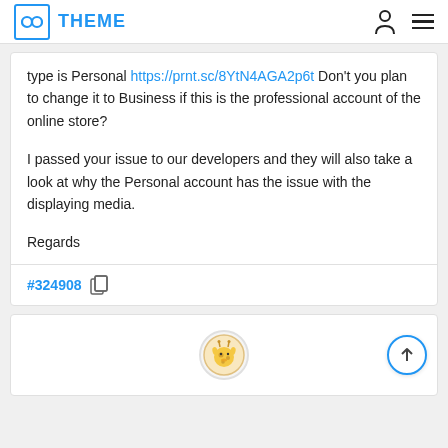THEME
type is Personal https://prnt.sc/8YtN4AGA2p6t Don't you plan to change it to Business if this is the professional account of the online store?

I passed your issue to our developers and they will also take a look at why the Personal account has the issue with the displaying media.

Regards
#324908
[Figure (illustration): User avatar showing a cartoon giraffe in a circular frame at the bottom of the page]